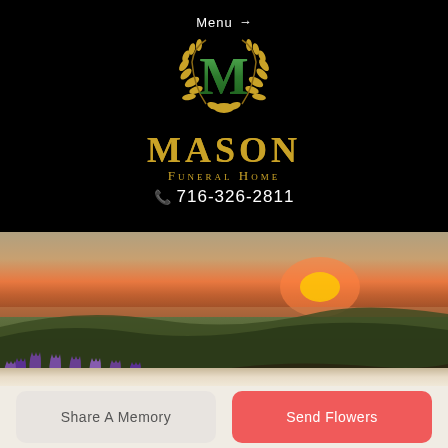Menu →
[Figure (logo): Mason Funeral Home logo with golden laurel wreath surrounding a green letter M, with text MASON FUNERAL HOME and phone number 716-326-2811]
[Figure (photo): Landscape photo of rolling hills at sunset with purple wildflowers in the foreground]
Share A Memory
Send Flowers